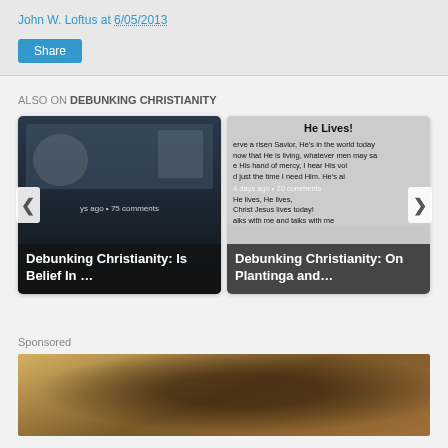John W. Loftus at 6/05/2013
Share
ALSO ON DEBUNKING CHRISTIANITY
[Figure (screenshot): Card 1: Blog post card showing Debunking Christianity: Is Belief In ... with dark image background and white text overlay. Shows '75 comments' metadata.]
[Figure (screenshot): Card 2: Blog post card for 'He Lives!' showing text of hymn lyrics and overlay with title 'Debunking Christianity: On Plantinga and ...' with '70 comments' metadata and highlighted text 'He lives within my heart.']
Sponsored